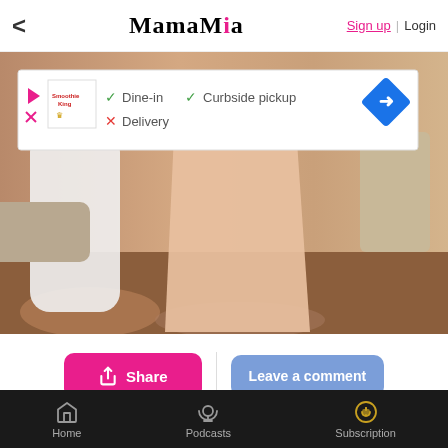MamaMia — Sign up | Login
[Figure (screenshot): Hero image of two figures in a bedroom scene, one in white, one in a pink/peach dress. An advertisement overlay shows Smoothie King branding with Dine-in (check), Curbside pickup (check), Delivery (cross), and a blue navigation arrow icon.]
Share  |  Leave a comment
I discovered my mother-in-law was actually a monster-in-law at my first dinner with the family.
Home  Podcasts  Subscription